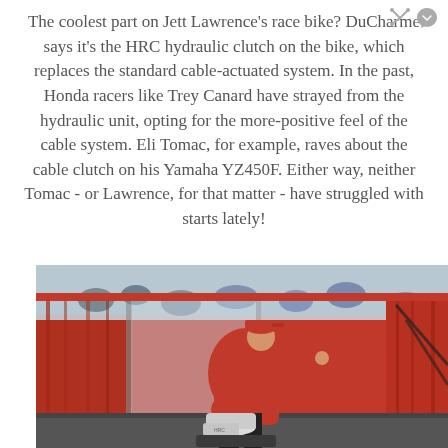The coolest part on Jett Lawrence's race bike? DuCharme says it's the HRC hydraulic clutch on the bike, which replaces the standard cable-actuated system. In the past, Honda racers like Trey Canard have strayed from the hydraulic unit, opting for the more-positive feel of the cable system. Eli Tomac, for example, raves about the cable clutch on his Yamaha YZ450F. Either way, neither Tomac - or Lawrence, for that matter - have struggled with starts lately!
[Figure (photo): A person wearing a red hoodie and red cap bending over gas canisters inside a red-curtained pit tent or enclosure, with spectators visible through a transparent barrier in the background.]